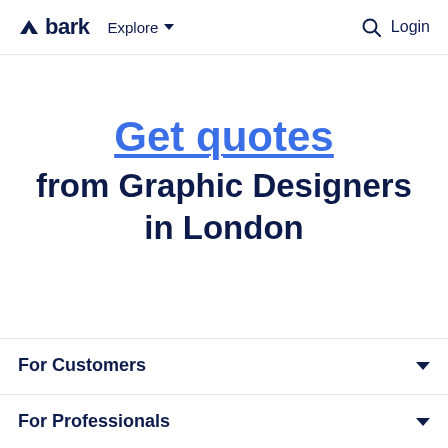bark  Explore  Login
Get quotes from Graphic Designers in London
For Customers
For Professionals